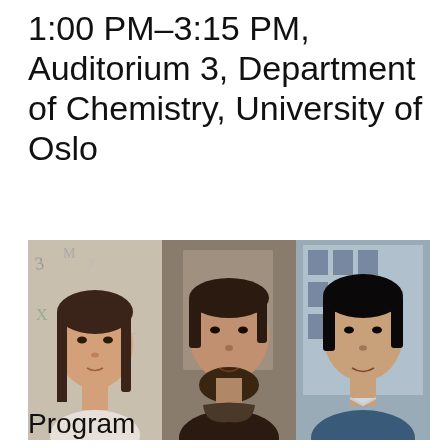1:00 PM–3:15 PM, Auditorium 3, Department of Chemistry, University of Oslo
[Figure (photo): Three portrait photos side by side: Clemence Corminboeuf (woman with dark hair), Sahil Gahlawat (man with beard, leather jacket), and Samiran Sen (young man in blue jacket)]
Clemence Corminboeuf, Sahil Gahlawat, and Samiran Sen
Program